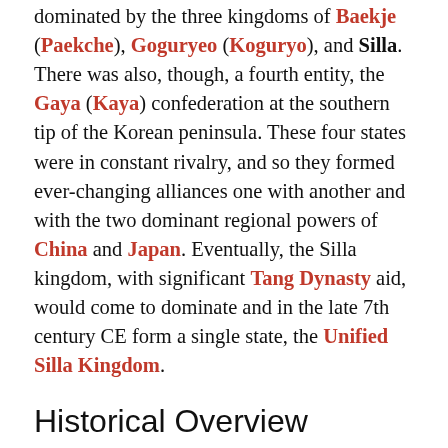dominated by the three kingdoms of Baekje (Paekche), Goguryeo (Koguryo), and Silla. There was also, though, a fourth entity, the Gaya (Kaya) confederation at the southern tip of the Korean peninsula. These four states were in constant rivalry, and so they formed ever-changing alliances one with another and with the two dominant regional powers of China and Japan. Eventually, the Silla kingdom, with significant Tang Dynasty aid, would come to dominate and in the late 7th century CE form a single state, the Unified Silla Kingdom.
Historical Overview
All of the kingdoms began from local tribes who settled and built fortified towns. These then grouped together to form single political entities